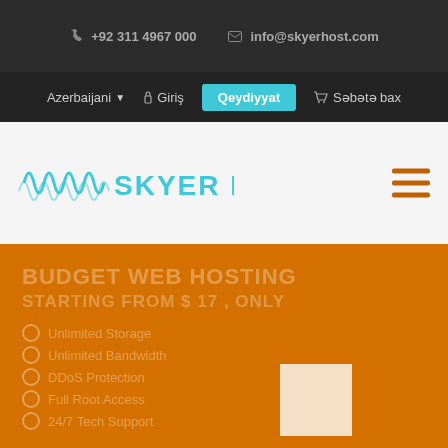+92 311 4967 000   info@skyerhost.com
Azerbaijani  Giriş  Qeydiyyat  Səbətə bax
[Figure (logo): Skyer Host logo with cyan waveform graphic and bold cyan text reading SKYER HOST]
BUDGET WEB HOSTING
STARTING FROM $ 17 , ONLY
Unlimited Storage
Unlimited Bandwidth
DDoS Protection
Full Root Access
24/7 Tech Support